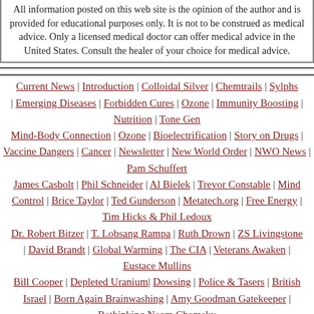All information posted on this web site is the opinion of the author and is provided for educational purposes only. It is not to be construed as medical advice. Only a licensed medical doctor can offer medical advice in the United States. Consult the healer of your choice for medical advice.
Current News | Introduction | Colloidal Silver | Chemtrails | Sylphs | Emerging Diseases | Forbidden Cures | Ozone | Immunity Boosting | Nutrition | Tone Gen Mind-Body Connection | Ozone | Bioelectrification | Story on Drugs | Vaccine Dangers | Cancer | Newsletter | New World Order | NWO News | Pam Schuffert James Casbolt | Phil Schneider | Al Bielek | Trevor Constable | Mind Control | Brice Taylor | Ted Gunderson | Metatech.org | Free Energy | Tim Hicks & Phil Ledoux Dr. Robert Bitzer | T. Lobsang Rampa | Ruth Drown | ZS Livingstone | David Brandt | Global Warming | The CIA | Veterans Awaken | Eustace Mullins Bill Cooper | Depleted Uranium | Dowsing | Police & Tasers | British Israel | Born Again Brainwashing | Amy Goodman Gatekeeper | Rethinking Noam Chomsky Red Elk | Project Blue Beam | Bush Family & Nazis | Otto Skorzeny | Insights on Aliens | Cell Towers | WiFi/Cell Phone Dangers | EMF Radiation News CPS/DCF Tyranny | Adrenal Burnout | The Women Warriors | Orgone